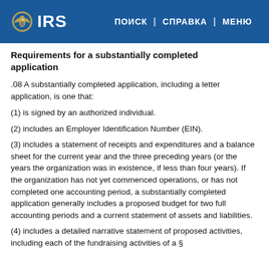IRS | ПОИСК | СПРАВКА | МЕНЮ
Requirements for a substantially completed application
.08 A substantially completed application, including a letter application, is one that:
(1) is signed by an authorized individual.
(2) includes an Employer Identification Number (EIN).
(3) includes a statement of receipts and expenditures and a balance sheet for the current year and the three preceding years (or the years the organization was in existence, if less than four years). If the organization has not yet commenced operations, or has not completed one accounting period, a substantially completed application generally includes a proposed budget for two full accounting periods and a current statement of assets and liabilities.
(4) includes a detailed narrative statement of proposed activities, including each of the fundraising activities of a §